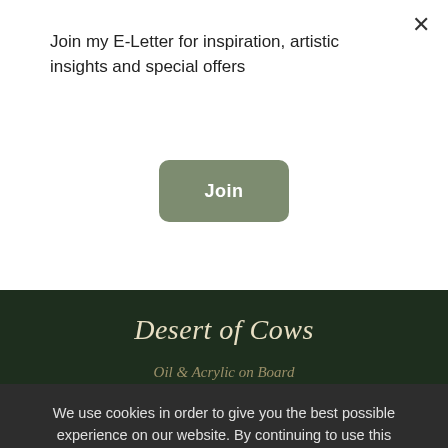Join my E-Letter for inspiration, artistic insights and special offers
Join
Desert of Cows
Oil & Acrylic on Board
491 mm x 839 mm
– Natalie J. Cheetham –
We use cookies in order to give you the best possible experience on our website. By continuing to use this site, you agree to our use of cookies.
Accept
Reject